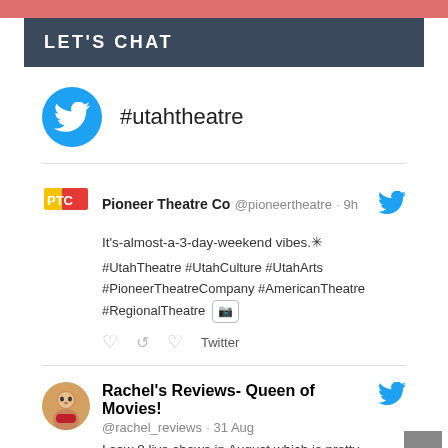LET'S CHAT
#utahtheatre
Pioneer Theatre Co @pioneertheatre · 9h
It's-almost-a-3-day-weekend vibes.✳
#UtahTheatre #UtahCulture #UtahArts #PioneerTheatreCompany #AmericanTheatre #RegionalTheatre
Rachel's Reviews- Queen of Movies! @rachel_reviews · 31 Aug
I saw 8 live shows in August which is pretty good considering I was gone for 10 days...